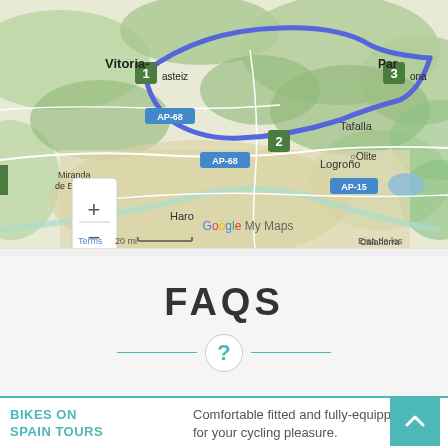[Figure (map): Google My Maps showing a route (blue line) through northern Spain passing through Vitoria-Gasteiz (marker 1), Estella (marker 2), and Pamplona (marker 3). The map shows cities including Miranda de Ebro, Haro, Logroño, Tafalla, Olite, Calahorra, Santo Domingo de la Calzada. Road labels AP-68 and AP-15 are visible. Scale bar shows 20 mi.]
FAQS
BIKES ON SPAIN TOURS
Comfortable fitted and fully-equipped for your cycling pleasure.